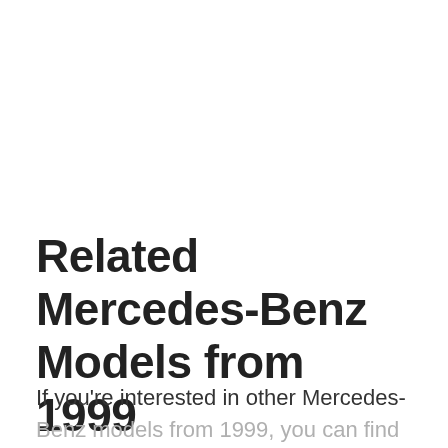Related Mercedes-Benz Models from 1999
If you're interested in other Mercedes-Benz models from 1999, you can find them...